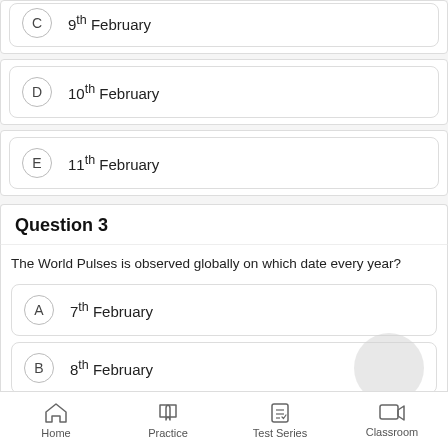C  9th February
D  10th February
E  11th February
Question 3
The World Pulses is observed globally on which date every year?
A  7th February
B  8th February
Home  Practice  Test Series  Classroom